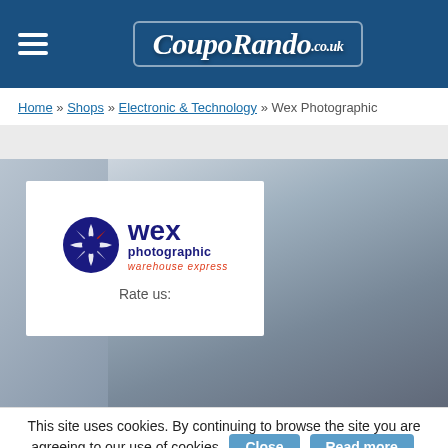CoupoRando.co.uk
Home » Shops » Electronic & Technology » Wex Photographic
[Figure (screenshot): Wex Photographic store page on CoupoRando.co.uk showing blurred laptop background and Wex Photographic logo (camera aperture icon with blue text 'wex photographic' and red 'warehouse express' tagline), with 'Rate us:' text below the logo card.]
This site uses cookies. By continuing to browse the site you are agreeing to our use of cookies. Close  Read more